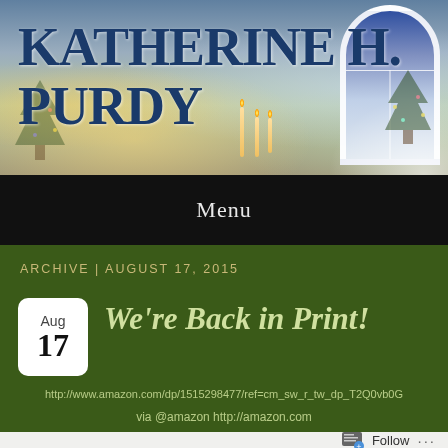KATHERINE H. PURDY
Menu
ARCHIVE | AUGUST 17, 2015
We're Back in Print!
http://www.amazon.com/dp/1515298477/ref=cm_sw_r_tw_dp_T2Q0vb0G
via @amazon http://amazon.com
Follow ...